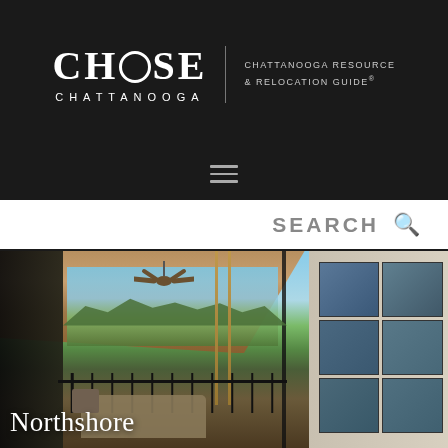CHOOSE CHATTANOOGA | CHATTANOOGA RESOURCE & RELOCATION GUIDE®
SEARCH
[Figure (photo): Screened porch with wood-plank ceiling, ceiling fan, hanging rope swing, and panoramic view of Chattanooga cityscape and mountains in background. Dark railing and outdoor furniture visible. Text overlay reads 'Northshore'.]